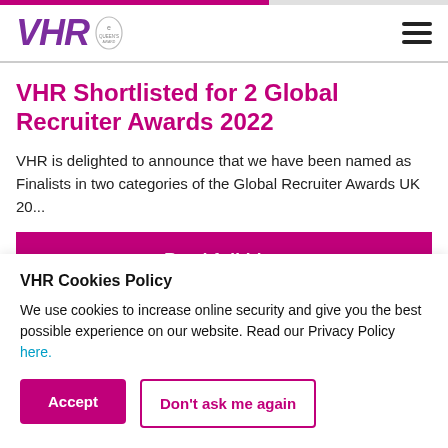VHR
VHR Shortlisted for 2 Global Recruiter Awards 2022
VHR is delighted to announce that we have been named as Finalists in two categories of the Global Recruiter Awards UK 20...
Read full blog
VHR Cookies Policy
We use cookies to increase online security and give you the best possible experience on our website. Read our Privacy Policy here.
Accept
Don't ask me again